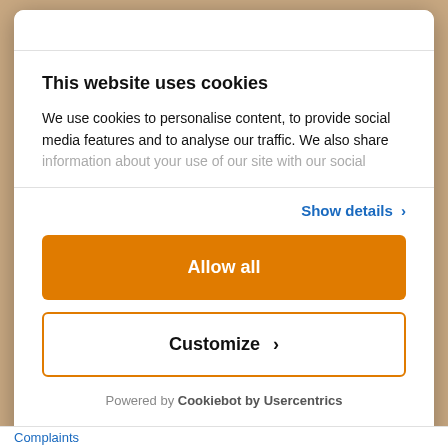This website uses cookies
We use cookies to personalise content, to provide social media features and to analyse our traffic. We also share information about your use of our site with our social
Show details ›
Allow all
Customize ›
Powered by Cookiebot by Usercentrics
Complaints